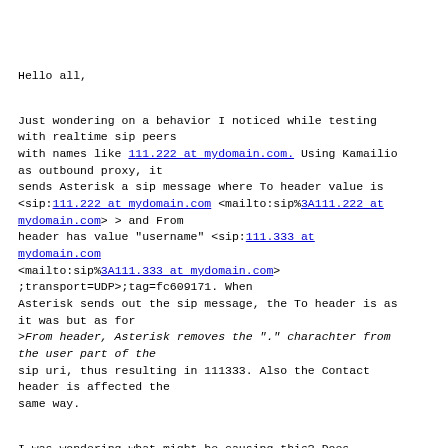Hello all,
Just wondering on a behavior I noticed while testing with realtime sip peers with names like 111.222 at mydomain.com. Using Kamailio as outbound proxy, it sends Asterisk a sip message where To header value is <sip:111.222 at mydomain.com <mailto:sip%3A111.222 at mydomain.com> > and From header has value "username" <sip:111.333 at mydomain.com <mailto:sip%3A111.333 at mydomain.com> ;transport=UDP>;tag=fc609171. When Asterisk sends out the sip message, the To header is as it was but as for >From header, Asterisk removes the "." charachter from the user part of the sip uri, thus resulting in 111333. Also the Contact header is affected the same way.
I was wondering what might be causing this? Does Asterisk not allow dots in